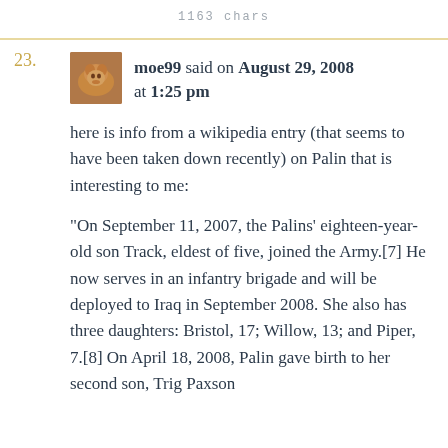1163 chars
23. moe99 said on August 29, 2008 at 1:25 pm

here is info from a wikipedia entry (that seems to have been taken down recently) on Palin that is interesting to me:

“On September 11, 2007, the Palins’ eighteen-year-old son Track, eldest of five, joined the Army.[7] He now serves in an infantry brigade and will be deployed to Iraq in September 2008. She also has three daughters: Bristol, 17; Willow, 13; and Piper, 7.[8] On April 18, 2008, Palin gave birth to her second son, Trig Paxson